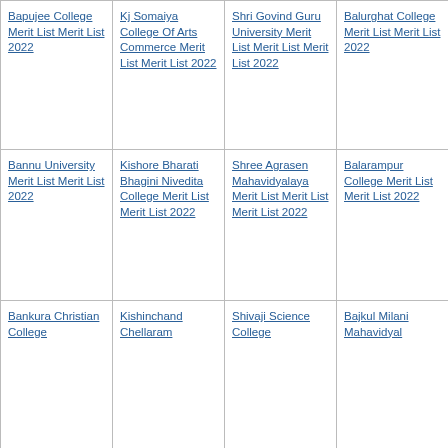| Bapujee College Merit List Merit List 2022 | Kj Somaiya College Of Arts Commerce Merit List Merit List 2022 | Shri Govind Guru University Merit List Merit List Merit List 2022 | Balurghat College Merit List Merit List 2022 |
| Bannu University Merit List Merit List 2022 | Kishore Bharati Bhagini Nivedita College Merit List Merit List 2022 | Shree Agrasen Mahavidyalaya Merit List Merit List Merit List 2022 | Balarampur College Merit List Merit List 2022 |
| Bankura Christian College... | Kishinchand Chellaram... | Shivaji Science College... | Bajkul Milani Mahavidyal... |